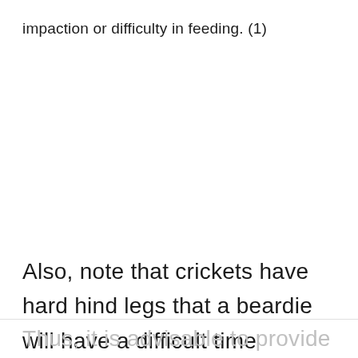impaction or difficulty in feeding. (1)
Also, note that crickets have hard hind legs that a beardie will have a difficult time digesting.
Thus, it is advisable to provide plenty of hydration to allow for easy feeding...